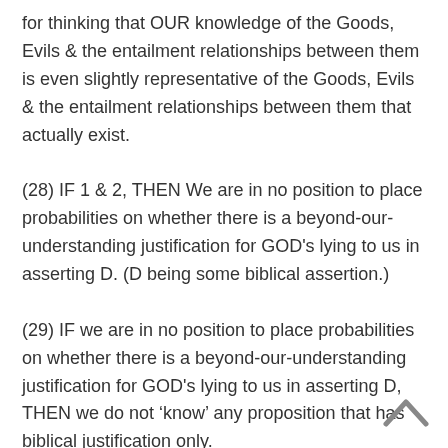for thinking that OUR knowledge of the Goods, Evils & the entailment relationships between them is even slightly representative of the Goods, Evils & the entailment relationships between them that actually exist.
(28) IF 1 & 2, THEN We are in no position to place probabilities on whether there is a beyond-our-understanding justification for GOD's lying to us in asserting D. (D being some biblical assertion.)
(29) IF we are in no position to place probabilities on whether there is a beyond-our-understanding justification for GOD's lying to us in asserting D, THEN we do not 'know' any proposition that has biblical justification only. This argument fails for the same reason that